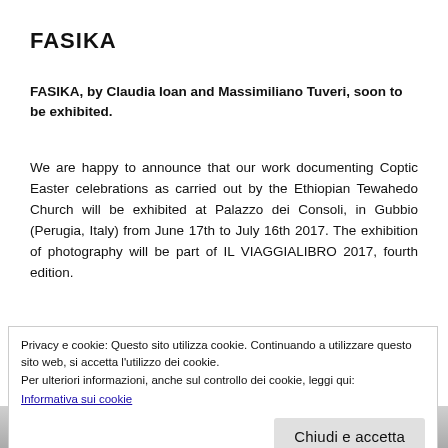FASIKA
FASIKA, by Claudia Ioan and Massimiliano Tuveri, soon to be exhibited.
We are happy to announce that our work documenting Coptic Easter celebrations as carried out by the Ethiopian Tewahedo Church will be exhibited at Palazzo dei Consoli, in Gubbio (Perugia, Italy) from June 17th to July 16th 2017. The exhibition of photography will be part of IL VIAGGIALIBRO 2017, fourth edition.
Privacy e cookie: Questo sito utilizza cookie. Continuando a utilizzare questo sito web, si accetta l’utilizzo dei cookie.
Per ulteriori informazioni, anche sul controllo dei cookie, leggi qui:
Informativa sui cookie
[Figure (photo): Bottom strip showing partial photo, appears to show a person]